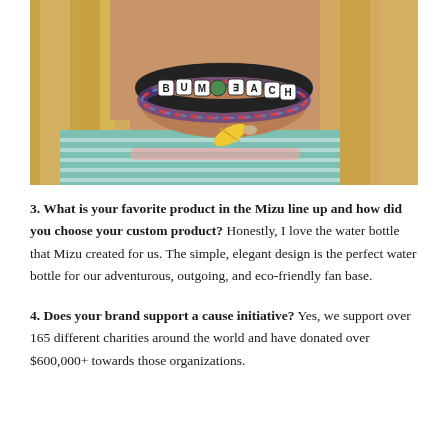[Figure (photo): Close-up photo of a person's wrist wearing a letter bead bracelet spelling 'BEACH BUM' and other bracelets including a feather charm, with blonde hair and a teal patterned top visible in the background.]
3. What is your favorite product in the Mizu line up and how did you choose your custom product? Honestly, I love the water bottle that Mizu created for us. The simple, elegant design is the perfect water bottle for our adventurous, outgoing, and eco-friendly fan base.
4. Does your brand support a cause initiative? Yes, we support over 165 different charities around the world and have donated over $600,000+ towards those organizations.